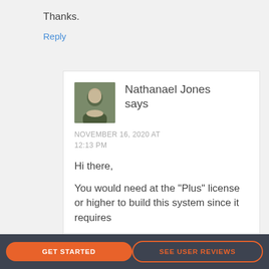Thanks.
Reply
Nathanael Jones says
NOVEMBER 16, 2020 AT 12:13 PM
Hi there,
You would need at the "Plus" license or higher to build this system since it requires
GET STARTED
SEE USER REVIEWS